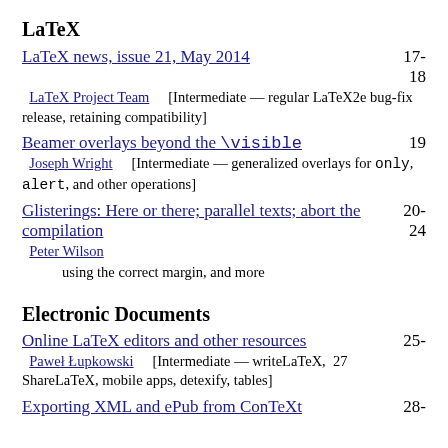LaTeX
LaTeX news, issue 21, May 2014 — LaTeX Project Team [Intermediate — regular LaTeX2e bug-fix release, retaining compatibility] — pages 17-18
Beamer overlays beyond the \visible — Joseph Wright [Intermediate — generalized overlays for only, alert, and other operations] — page 19
Glisterings: Here or there; parallel texts; abort the compilation — Peter Wilson — using the correct margin, and more — pages 20-24
Electronic Documents
Online LaTeX editors and other resources — Pawel Lupkowski [Intermediate — writeLaTeX, ShareLaTeX, mobile apps, detexify, tables] — pages 25-27
Exporting XML and ePub from ConTeXt — page 28-